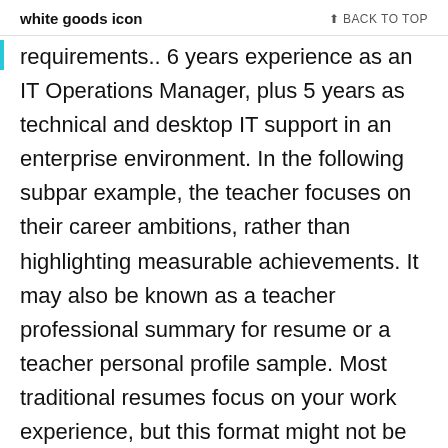white goods icon  ↑ BACK TO TOP
requirements.. 6 years experience as an IT Operations Manager, plus 5 years as technical and desktop IT support in an enterprise environment. In the following subpar example, the teacher focuses on their career ambitions, rather than highlighting measurable achievements. It may also be known as a teacher professional summary for resume or a teacher personal profile sample. Most traditional resumes focus on your work experience, but this format might not be the best for those who are changing careers or just starting out. Provide details to paint a clear picture for your readers. However, it's not so